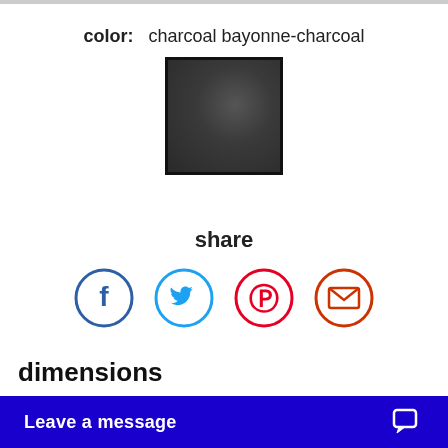color:  charcoal bayonne-charcoal
[Figure (photo): Color swatch showing charcoal bayonne-charcoal fabric texture, dark gray with subtle texture, framed with a black border]
share
[Figure (infographic): Four social sharing icons in circles: Facebook (dark blue), Twitter (light blue), Pinterest (red), Email/envelope (orange-red)]
dimensions
dim: Width (inches): 25" W
dim: Depth or Length (inches): 22" D
dim: Height (inches): 2...
Leave a message